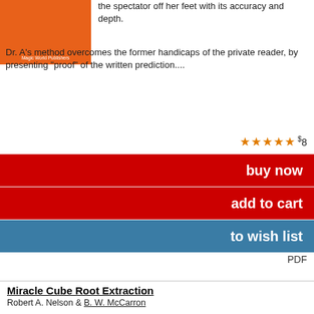the spectator off her feet with its accuracy and depth.
Dr. A's method overcomes the former handicaps of the private reader, by presenting "proof" of the written prediction....
★★★★★  $8
buy now
add to cart
to wish list
PDF
Miracle Cube Root Extraction
Robert A. Nelson & B. W. McCarron
An apparent demonstration of superior brain power.
Any number between 1 and 100 is cubed by a spectator, and the final result called aloud. The